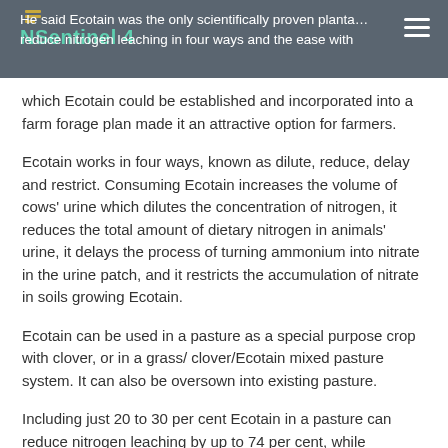He said Ecotain was the only scientifically proven plant able to reduce nitrogen leaching in four ways and the ease with which Ecotain could be established and incorporated into a farm forage plan made it an attractive option for farmers.
which Ecotain could be established and incorporated into a farm forage plan made it an attractive option for farmers.
Ecotain works in four ways, known as dilute, reduce, delay and restrict. Consuming Ecotain increases the volume of cows' urine which dilutes the concentration of nitrogen, it reduces the total amount of dietary nitrogen in animals' urine, it delays the process of turning ammonium into nitrate in the urine patch, and it restricts the accumulation of nitrate in soils growing Ecotain.
Ecotain can be used in a pasture as a special purpose crop with clover, or in a grass/ clover/Ecotain mixed pasture system. It can also be oversown into existing pasture.
Including just 20 to 30 per cent Ecotain in a pasture can reduce nitrogen leaching by up to 74 per cent, while pastures containing 43 per cent Ecotain showed reductions of 89 per